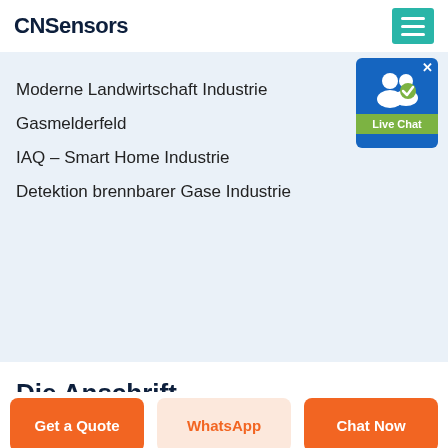CNSensors
Moderne Landwirtschaft Industrie
Gasmelderfeld
IAQ – Smart Home Industrie
Detektion brennbarer Gase Industrie
Die Anschrift
+8618037022596
cnsensors@outlook.com
Get a Quote
WhatsApp
Chat Now